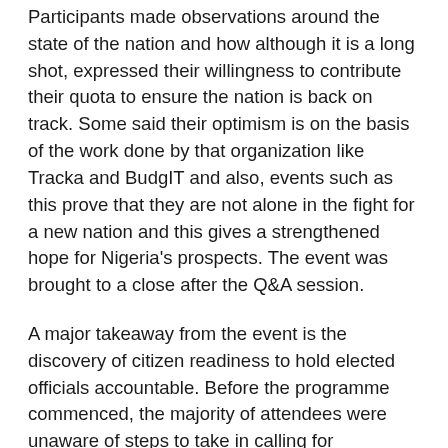Participants made observations around the state of the nation and how although it is a long shot, expressed their willingness to contribute their quota to ensure the nation is back on track. Some said their optimism is on the basis of the work done by that organization like Tracka and BudgIT and also, events such as this prove that they are not alone in the fight for a new nation and this gives a strengthened hope for Nigeria's prospects. The event was brought to a close after the Q&A session.
A major takeaway from the event is the discovery of citizen readiness to hold elected officials accountable. Before the programme commenced, the majority of attendees were unaware of steps to take in calling for accountability while some feared for their safety. At the end of the programme, participants were eager to discuss with the convener and speaker, wanting to know more, speaking about their experiences and commending the convener for a job well done.